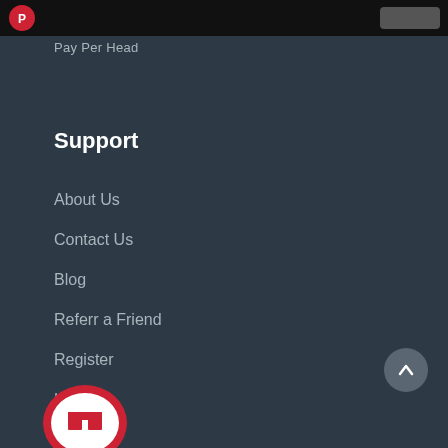Pay Per Head
Support
About Us
Contact Us
Blog
Referr a Friend
Register
Log In
[Figure (logo): Red and white circular logo at bottom left]
[Figure (other): Scroll to top button with upward arrow at bottom right]